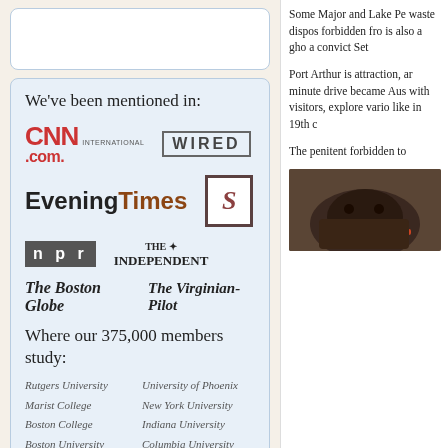We've been mentioned in:
[Figure (logo): CNN International .com logo (red)]
[Figure (logo): WIRED logo in box]
[Figure (logo): EveningTimes logo]
[Figure (logo): S logo in dark box]
[Figure (logo): NPR logo]
[Figure (logo): The Independent logo]
[Figure (logo): The Boston Globe logo]
[Figure (logo): The Virginian-Pilot logo]
Where our 375,000 members study:
Rutgers University
University of Phoenix
Marist College
New York University
Boston College
Indiana University
Boston University
Columbia University
University of Colorado
Miami Dade College
Some Major and Lake Pe waste dispos forbidden fro is also a gho a convict Set
Port Arthur is attraction, ar minute drive became Aus with visitors, explore vario like in 19th c
The penitent forbidden to
[Figure (photo): Photo of what appears to be a Tasmanian devil or similar animal]